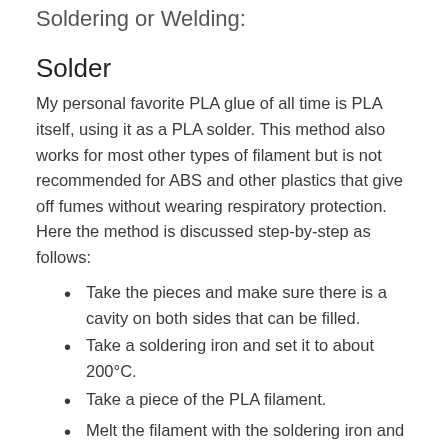Soldering or Welding:
Solder
My personal favorite PLA glue of all time is PLA itself, using it as a PLA solder. This method also works for most other types of filament but is not recommended for ABS and other plastics that give off fumes without wearing respiratory protection. Here the method is discussed step-by-step as follows:
Take the pieces and make sure there is a cavity on both sides that can be filled.
Take a soldering iron and set it to about 200°C.
Take a piece of the PLA filament.
Melt the filament with the soldering iron and use it as a solder when combining the two pieces. Make sure at least some of the filament gets into the cavities and